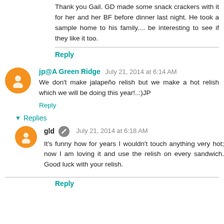Thank you Gail. GD made some snack crackers with it for her and her BF before dinner last night. He took a sample home to his family.... be interesting to see if they like it too.
Reply
jp@A Green Ridge  July 21, 2014 at 6:14 AM
We don't make jalapeño relish but we make a hot relish which we will be doing this year!..:)JP
Reply
Replies
gld  July 21, 2014 at 6:18 AM
It's funny how for years I wouldn't touch anything very hot; now I am loving it and use the relish on every sandwich. Good luck with your relish.
Reply